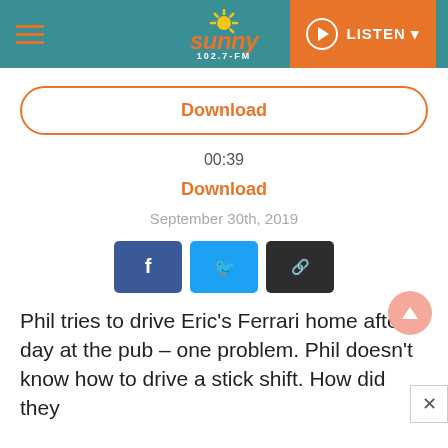Sunny 102.7-FM | LISTEN
Download
00:39
Download
September 30th, 2019
[Figure (infographic): Social share buttons: Facebook, Twitter, and link/chain icon]
Phil tries to drive Eric's Ferrari home after a day at the pub – one problem. Phil doesn't know how to drive a stick shift. How did they